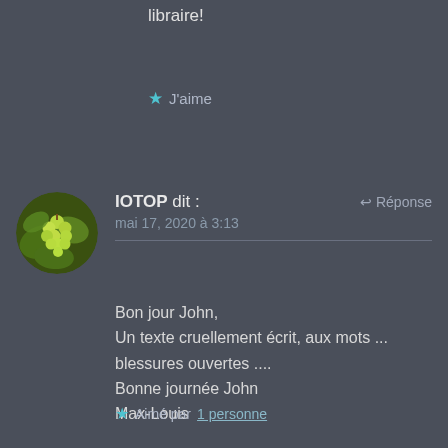libraire!
★ J'aime
IOTOP dit :
mai 17, 2020 à 3:13
↩ Réponse
[Figure (photo): Circular avatar photo showing green grape clusters with leaves]
Bon jour John,
Un texte cruellement écrit, aux mots ...
blessures ouvertes ....
Bonne journée John
Max-Louis
★ Aimé par 1 personne